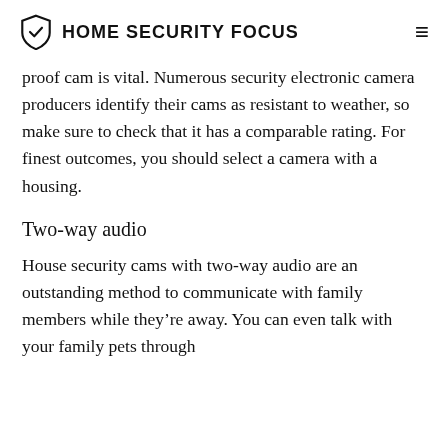HOME SECURITY FOCUS
proof cam is vital. Numerous security electronic camera producers identify their cams as resistant to weather, so make sure to check that it has a comparable rating. For finest outcomes, you should select a camera with a housing.
Two-way audio
House security cams with two-way audio are an outstanding method to communicate with family members while they're away. You can even talk with your family pets through